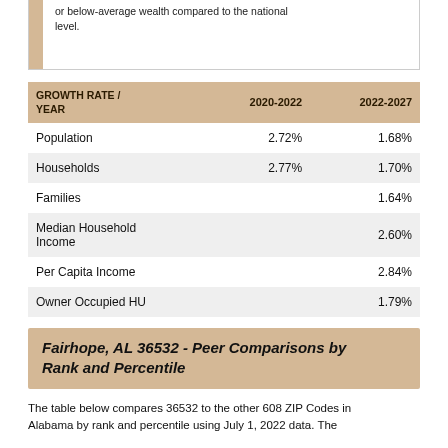or below-average wealth compared to the national level.
| GROWTH RATE / YEAR | 2020-2022 | 2022-2027 |
| --- | --- | --- |
| Population | 2.72% | 1.68% |
| Households | 2.77% | 1.70% |
| Families |  | 1.64% |
| Median Household Income |  | 2.60% |
| Per Capita Income |  | 2.84% |
| Owner Occupied HU |  | 1.79% |
Fairhope, AL 36532 - Peer Comparisons by Rank and Percentile
The table below compares 36532 to the other 608 ZIP Codes in Alabama by rank and percentile using July 1, 2022 data. The